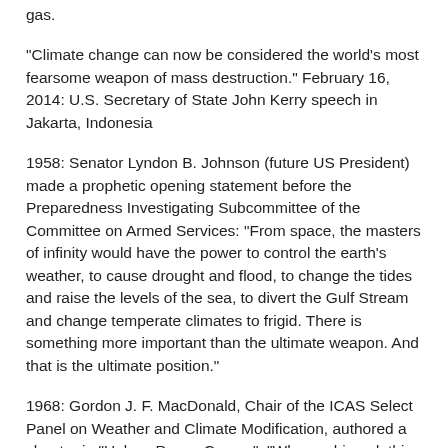gas.
“Climate change can now be considered the world’s most fearsome weapon of mass destruction.” February 16, 2014: U.S. Secretary of State John Kerry speech in Jakarta, Indonesia
1958: Senator Lyndon B. Johnson (future US President) made a prophetic opening statement before the Preparedness Investigating Subcommittee of the Committee on Armed Services: “From space, the masters of infinity would have the power to control the earth’s weather, to cause drought and flood, to change the tides and raise the levels of the sea, to divert the Gulf Stream and change temperate climates to frigid. There is something more important than the ultimate weapon. And that is the ultimate position.”
1968: Gordon J. F. MacDonald, Chair of the ICAS Select Panel on Weather and Climate Modification, authored a chapter in “Unless Peace Comes”: “When achieved, this power over his environment will provide man with a new force capable of doing great and indiscriminate damage. Our present primitive understanding of deliberate environmental change makes it difficult to imagine a world in which geophysical warfare is